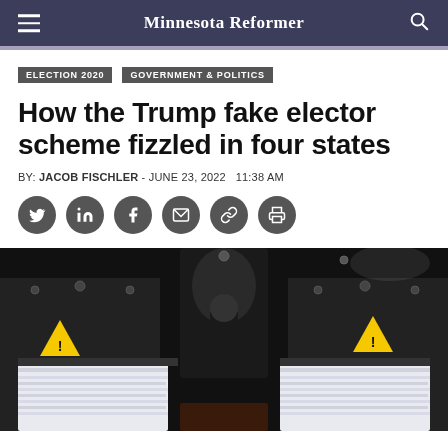Minnesota Reformer
ELECTION 2020
GOVERNMENT & POLITICS
How the Trump fake elector scheme fizzled in four states
BY: JACOB FISCHLER - JUNE 23, 2022  11:38 AM
[Figure (photo): Close-up photo of a printing/scanning machine with yellow warning stickers, papers being fed through, dark background.]